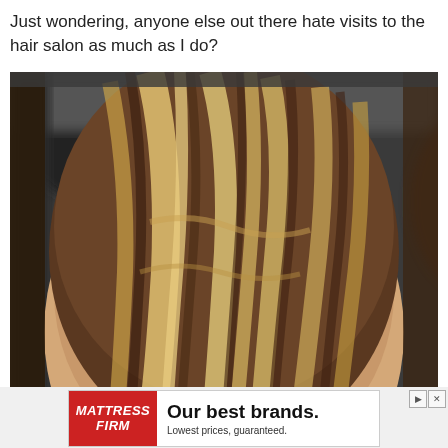Just wondering, anyone else out there hate visits to the hair salon as much as I do?
[Figure (photo): Back view of a person's head showing shoulder-length hair with blonde highlights and darker brown underneath, taken in a hair salon setting with blurred background.]
[Figure (other): Advertisement for Mattress Firm: logo on red background, text reads 'Our best brands. Lowest prices, guaranteed.']